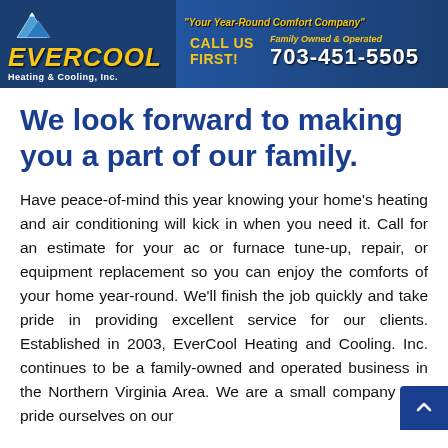[Figure (logo): EverCool Heating & Cooling, Inc. banner advertisement with mountain logo, yellow text on dark blue background. Text includes: 'Your Year-Round Comfort Company', 'Family Owned & Operated', 'Call Us First!', '703-451-5505']
We look forward to making you a part of our family.
Have peace-of-mind this year knowing your home's heating and air conditioning will kick in when you need it. Call for an estimate for your ac or furnace tune-up, repair, or equipment replacement so you can enjoy the comforts of your home year-round. We'll finish the job quickly and take pride in providing excellent service for our clients. Established in 2003, EverCool Heating and Cooling. Inc. continues to be a family-owned and operated business in the Northern Virginia Area. We are a small company and pride ourselves on our